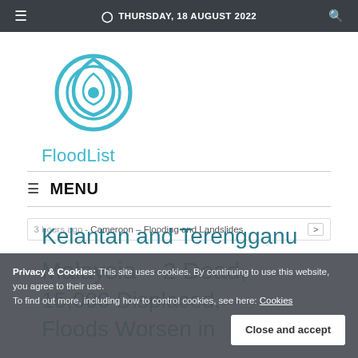THURSDAY, 18 AUGUST 2022
[Figure (logo): FloodList logo — a stylized water droplet with circular rings in teal/cyan, with the text 'FloodList' in teal below]
MENU
3 hours ago - Cameroon – Flooding and Landslides
Malaysia – 2 Dead, 15,000 Displaced, Floods Worsen in Kelantan and Terengganu
Privacy & Cookies: This site uses cookies. By continuing to use this website, you agree to their use. To find out more, including how to control cookies, see here: Cookies